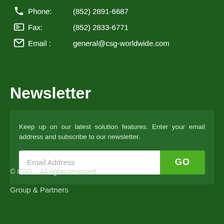Phone: (852) 2891-6687
Fax: (852) 2833-6771
Email : general@csg-worldwide.com
Newsletter
Keep up on our latest solution features. Enter your email address and subscribe to our newsletter.
© CSG    All rights reserved.
Group & Partners